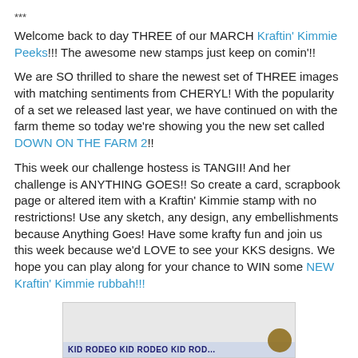***
Welcome back to day THREE of our MARCH Kraftin' Kimmie Peeks!!! The awesome new stamps just keep on comin'!!
We are SO thrilled to share the newest set of THREE images with matching sentiments from CHERYL! With the popularity of a set we released last year, we have continued on with the farm theme so today we're showing you the new set called DOWN ON THE FARM 2!!
This week our challenge hostess is TANGII! And her challenge is ANYTHING GOES!! So create a card, scrapbook page or altered item with a Kraftin' Kimmie stamp with no restrictions! Use any sketch, any design, any embellishments because Anything Goes! Have some krafty fun and join us this week because we'd LOVE to see your KKS designs. We hope you can play along for your chance to WIN some NEW Kraftin' Kimmie rubbah!!!
[Figure (photo): Partial image of a stamp product showing 'KID RODEO KID RODEO KID ROD...' text on a card/packaging, with a partial circular brown image on the right side.]